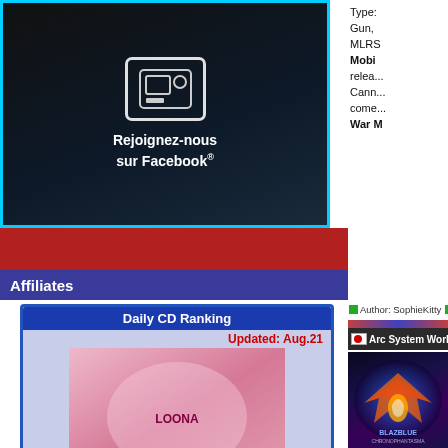[Figure (screenshot): Facebook social media banner with 'Rejoignez-nous sur Facebook' text and icon, cyan border on dark background]
Affiliates
Daily CD Ranking
Updated: Aug.21
2022/09/28
LOONA
Luminous
[Figure (photo): K-pop group LOONA album cover for Luminous]
2022/09/28
[Figure (photo): Second K-pop group album cover]
Type: Gun, MLRS Mobi... relea... Cann... come... War M...
[Figure (screenshot): Gundam Senjo no Kizuna arcade game screenshot with tank/military vehicle in desert]
Author: SophieKitty   More info...   Perm...
Arc System Works announces BlazBlue Chrono...
[Figure (screenshot): BlazBlue Chronophantasma logo on dark blue/purple background with wing design]
Today... relea... BlazBlue... prese... and A... Noel... Araku... Haza... Reliu... held ...